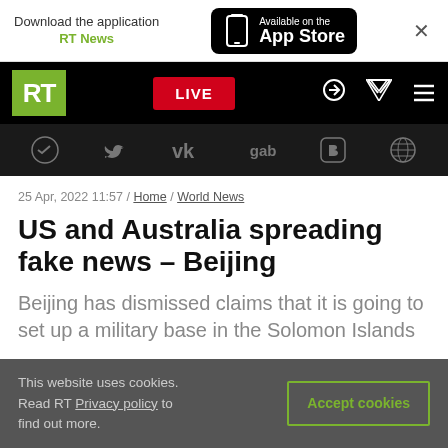Download the application RT News / Available on the App Store
[Figure (screenshot): RT News navigation bar with green RT logo, red LIVE button, search and menu icons, and social media icons bar (Telegram, Twitter, VK, gab, Rumble, other)]
25 Apr, 2022 11:57 / Home / World News
US and Australia spreading fake news – Beijing
Beijing has dismissed claims that it is going to set up a military base in the Solomon Islands
This website uses cookies. Read RT Privacy policy to find out more.
Accept cookies